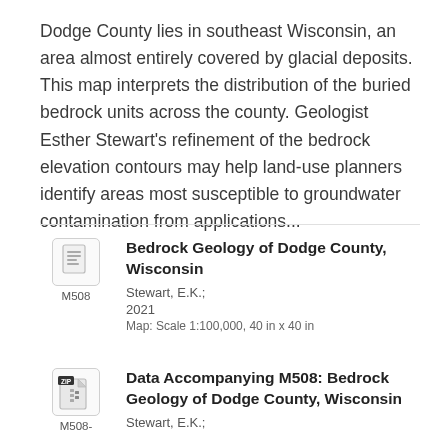Dodge County lies in southeast Wisconsin, an area almost entirely covered by glacial deposits. This map interprets the distribution of the buried bedrock units across the county. Geologist Esther Stewart's refinement of the bedrock elevation contours may help land-use planners identify areas most susceptible to groundwater contamination from applications...
[Figure (illustration): Icon representing a map document, labeled M508 below]
Bedrock Geology of Dodge County, Wisconsin
Stewart, E.K.;
2021
Map: Scale 1:100,000, 40 in x 40 in
[Figure (illustration): ZIP file icon, labeled M508- below]
Data Accompanying M508: Bedrock Geology of Dodge County, Wisconsin
Stewart, E.K.;